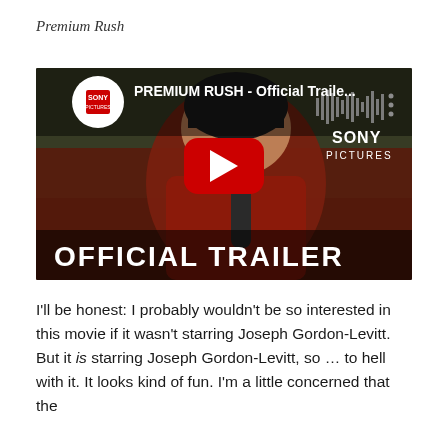Premium Rush
[Figure (screenshot): YouTube video thumbnail for 'PREMIUM RUSH - Official Traile...' showing a man in a red shirt and helmet leaning forward on a bike, with a large red YouTube play button in the center, 'OFFICIAL TRAILER' text at the bottom, Sony Pictures logo in the upper right, and the Sony Pictures channel icon in the upper left.]
I'll be honest: I probably wouldn't be so interested in this movie if it wasn't starring Joseph Gordon-Levitt. But it is starring Joseph Gordon-Levitt, so … to hell with it. It looks kind of fun. I'm a little concerned that the